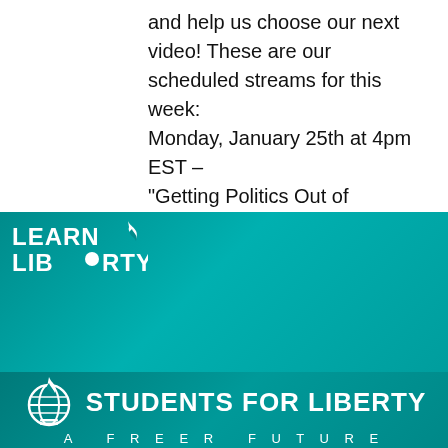and help us choose our next video! These are our scheduled streams for this week: Monday, January 25th at 4pm EST – "Getting Politics Out of Education" School Choice Week Discussion Wednesday, January 27th at 2pm EST [...]
[Figure (logo): Learn Liberty logo with teal background, social media icons (YouTube, Patreon, Letterboxd, Facebook, Twitter, Email), and description text. Below is Students For Liberty - A Freer Future banner with globe/flame logo.]